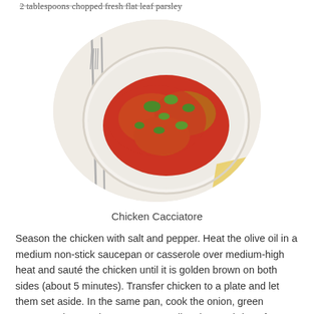2 tablespoons chopped fresh flat leaf parsley
[Figure (photo): A plate of Chicken Cacciatore with tomato sauce and fresh herbs, with silverware beside the plate and a yellow napkin.]
Chicken Cacciatore
Season the chicken with salt and pepper. Heat the olive oil in a medium non-stick saucepan or casserole over medium-high heat and sauté the chicken until it is golden brown on both sides (about 5 minutes). Transfer chicken to a plate and let them set aside. In the same pan, cook the onion, green pepper, celery, and carrots over medium heat, stirring often, until onion and pepper are soft (about 10 minutes). Add the garlic and cook for another minute. Sprinkle the flour over the vegetables and stir to blend in evenly -